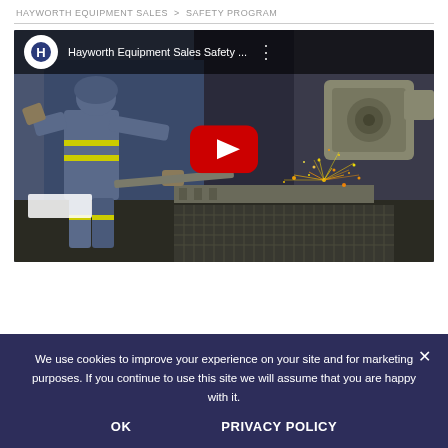HAYWORTH EQUIPMENT SALES > SAFETY PROGRAM
[Figure (screenshot): YouTube video thumbnail showing a worker in safety coveralls grinding metal with sparks flying, titled 'Hayworth Equipment Sales Safety ...']
We use cookies to improve your experience on your site and for marketing purposes. If you continue to use this site we will assume that you are happy with it.
OK    PRIVACY POLICY